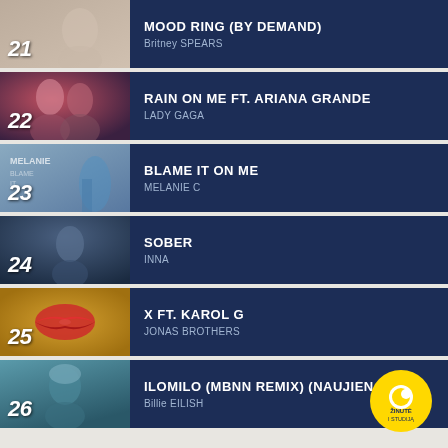21 – MOOD RING (BY DEMAND) – Britney SPEARS
22 – RAIN ON ME FT. ARIANA GRANDE – LADY GAGA
23 – BLAME IT ON ME – MELANIE C
24 – SOBER – INNA
25 – X FT. KAROL G – JONAS BROTHERS
26 – ILOMILO (MBNN REMIX) (NAUJIENA!) – Billie EILISH
[Figure (logo): ŽINUTĖ I STUDIJĄ circular badge]